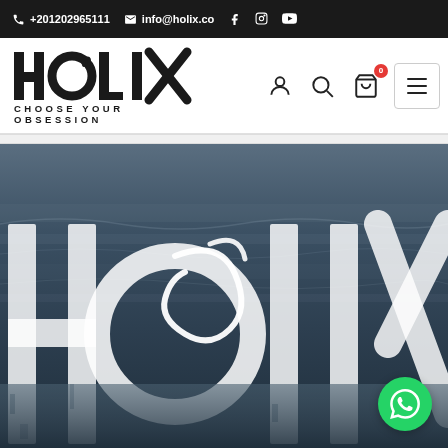+201202965111  info@holix.co
[Figure (logo): HOLIX logo with tagline CHOOSE YOUR OBSESSION and navigation icons including user, search, cart (0), and hamburger menu]
[Figure (photo): Hero banner with dark blue ocean/water background showing large white HOLIX text watermark letters. WhatsApp chat button in bottom right corner.]